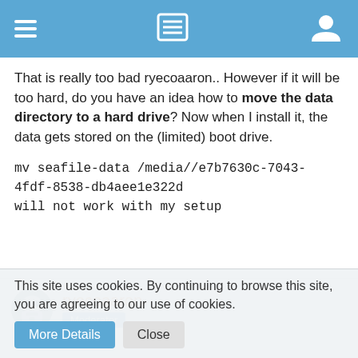Navigation bar with hamburger menu, list icon, and user icon
That is really too bad ryecoaaron.. However if it will be too hard, do you have an idea how to move the data directory to a hard drive? Now when I install it, the data gets stored on the (limited) boot drive.
mv seafile-data /media//e7b7630c-7043-4fdf-8538-db4aee1e322d
will not work with my setup
ryecoaaron
Moderator
This site uses cookies. By continuing to browse this site, you are agreeing to our use of cookies.
More Details
Close